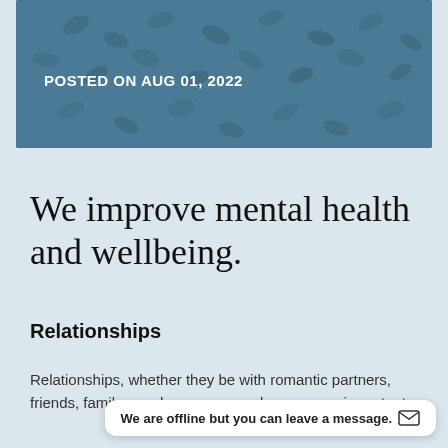[Figure (illustration): Blue header banner with decorative leaf/petal pattern overlay in darker blue tones]
POSTED ON AUG 01, 2022
We improve mental health and wellbeing.
Relationships
Relationships, whether they be with romantic partners, friends, family members, or co-workers, are an important
We are offline but you can leave a message. ✉